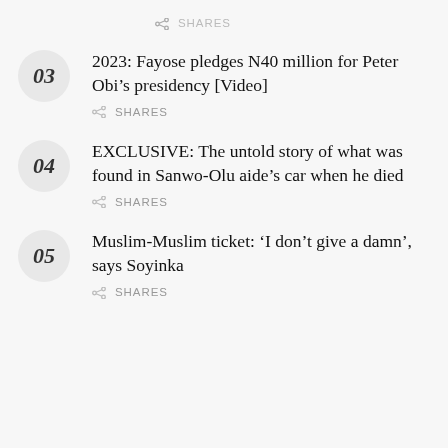SHARES
03 2023: Fayose pledges N40 million for Peter Obi’s presidency [Video]
SHARES
04 EXCLUSIVE: The untold story of what was found in Sanwo-Olu aide’s car when he died
SHARES
05 Muslim-Muslim ticket: ‘I don’t give a damn’, says Soyinka
SHARES